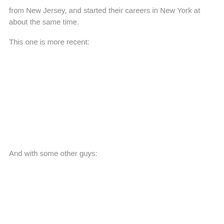from New Jersey, and started their careers in New York at about the same time.
This one is more recent:
And with some other guys: